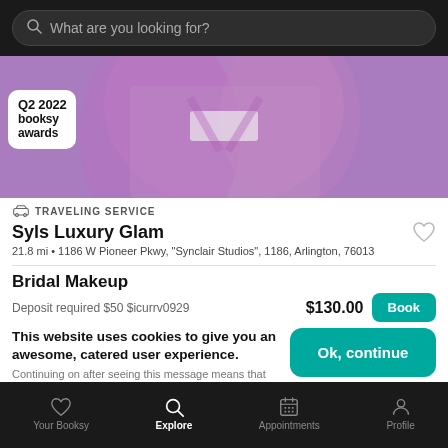[Figure (screenshot): Search bar with magnifying glass icon and placeholder text 'What are you looking for?' on dark background]
[Figure (photo): Person wearing pink/mauve blazer jacket against purple background, with Q2 2022 booksy awards badge overlay]
TRAVELING SERVICE
Syls Luxury Glam
21.8 mi • 1186 W Pioneer Pkwy, "Synclair Studios", 1186, Arlington, 76013
Bridal Makeup
Deposit required $50 $icurrv0929
$130.00
This website uses cookies to give you an awesome, catered user experience. Continuing on after seeing this message means that you're cool with that.
Your Booksy  Explore  Appointments  Profile